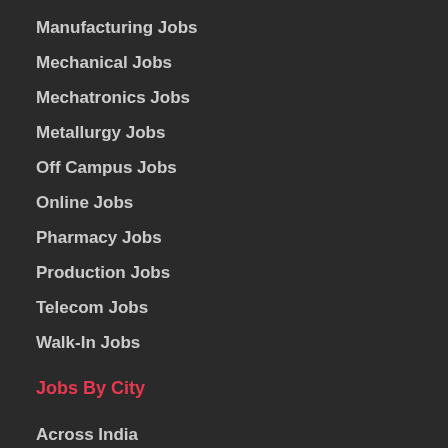Manufacturing Jobs
Mechanical Jobs
Mechatronics Jobs
Metallurgy Jobs
Off Campus Jobs
Online Jobs
Pharmacy Jobs
Production Jobs
Telecom Jobs
Walk-In Jobs
Jobs By City
Across India
Jobs in Ahmedabad
Jobs in Bangalore
Jobs in Bhubhaneshwar
Jobs in Chandigarh